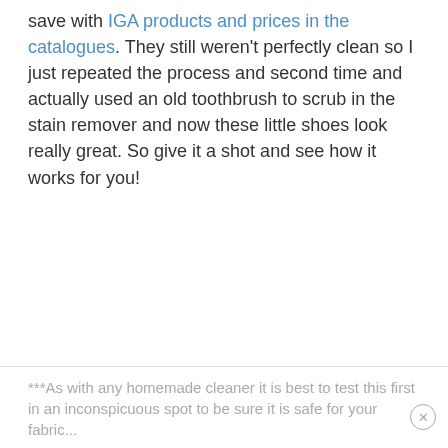save with IGA products and prices in the catalogues. They still weren't perfectly clean so I just repeated the process and second time and actually used an old toothbrush to scrub in the stain remover and now these little shoes look really great. So give it a shot and see how it works for you!
***As with any homemade cleaner it is best to test this first in an inconspicuous spot to be sure it is safe for your fabric...